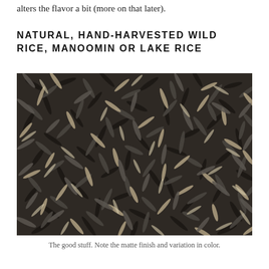alters the flavor a bit (more on that later).
NATURAL, HAND-HARVESTED WILD RICE, MANOOMIN OR LAKE RICE
[Figure (photo): Close-up photograph of natural wild rice grains showing matte finish and variation in color, with grains ranging from dark grey/black to tan/beige scattered in all directions.]
The good stuff. Note the matte finish and variation in color.